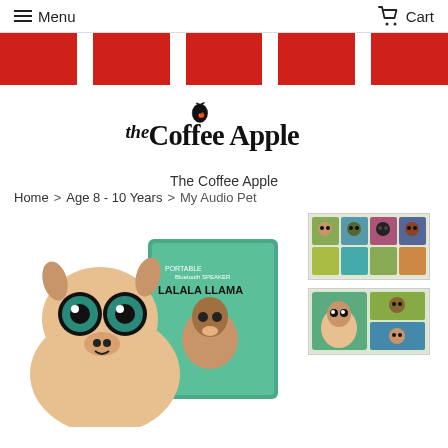Menu   Cart
[Figure (illustration): Red and white striped banner across the top of the page]
[Figure (logo): The Coffee Apple logo in black cursive script with apple icon]
The Coffee Apple
Home > Age 8 - 10 Years > My Audio Pet
[Figure (photo): Lalala Llama portable Bluetooth speaker product with llama character plush speaker and product box]
[Figure (photo): Thumbnail showing multiple My Audio Pet product boxes]
[Figure (photo): Thumbnail showing another angle of My Audio Pet product boxes]